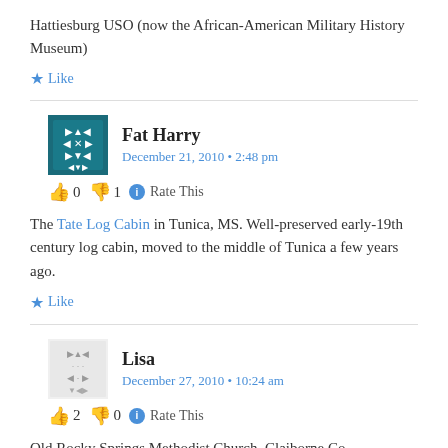Hattiesburg USO (now the African-American Military History Museum)
★ Like
Fat Harry
December 21, 2010 • 2:48 pm
👍 0 👎 1 ℹ Rate This
The Tate Log Cabin in Tunica, MS. Well-preserved early-19th century log cabin, moved to the middle of Tunica a few years ago.
★ Like
Lisa
December 27, 2010 • 10:24 am
👍 2 👎 0 ℹ Rate This
Old Rocky Springs Methodist Church, Claiborne Co.